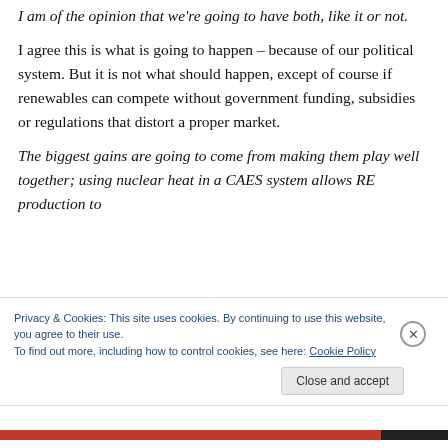I am of the opinion that we're going to have both, like it or not.
I agree this is what is going to happen – because of our political system. But it is not what should happen, except of course if renewables can compete without government funding, subsidies or regulations that distort a proper market.
The biggest gains are going to come from making them play well together; using nuclear heat in a CAES system allows RE production to
Privacy & Cookies: This site uses cookies. By continuing to use this website, you agree to their use.
To find out more, including how to control cookies, see here: Cookie Policy